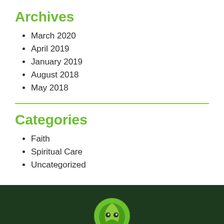Archives
March 2020
April 2019
January 2019
August 2018
May 2018
Categories
Faith
Spiritual Care
Uncategorized
[Figure (logo): Green circular logo on dark green footer background]